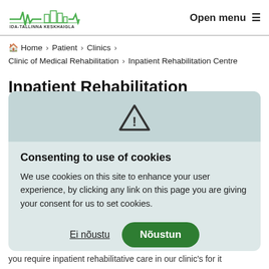[Figure (logo): Ida-Tallinna Keskhaigla hospital logo with ECG heartbeat line graphic and text IDA-TALLINNA KESKHAIGLA]
Open menu ≡
🏠 Home › Patient › Clinics › Clinic of Medical Rehabilitation › Inpatient Rehabilitation Centre
Inpatient Rehabilitation
Consenting to use of cookies
We use cookies on this site to enhance your user experience, by clicking any link on this page you are giving your consent for us to set cookies.
Ei nõustu   Nõustun
you require inpatient rehabilitative care in our clinic's for it